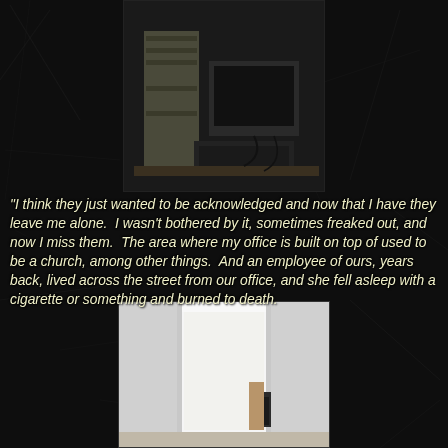[Figure (photo): Dark photograph of office equipment including a filing cabinet and computer/printer on a desk, dimly lit]
"I think they just wanted to be acknowledged and now that I have they leave me alone.  I wasn't bothered by it, sometimes freaked out, and now I miss them.  The area where my office is built on top of used to be a church, among other things.  And an employee of ours, years back, lived across the street from our office, and she fell asleep with a cigarette or something and burned to death.
[Figure (photo): Photo of a white hallway or doorway showing a bright white corridor with a light-colored interior]